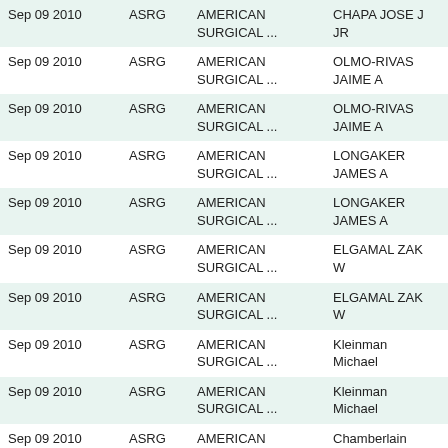| Date | Ticker | Company | Name | Title |
| --- | --- | --- | --- | --- |
| Sep 09 2010 | ASRG | AMERICAN SURGICAL ... | CHAPA JOSE J JR |  |
| Sep 09 2010 | ASRG | AMERICAN SURGICAL ... | OLMO-RIVAS JAIME A | VP and CO |
| Sep 09 2010 | ASRG | AMERICAN SURGICAL ... | OLMO-RIVAS JAIME A | VP and CO |
| Sep 09 2010 | ASRG | AMERICAN SURGICAL ... | LONGAKER JAMES A | Chief Fina... |
| Sep 09 2010 | ASRG | AMERICAN SURGICAL ... | LONGAKER JAMES A | Chief Fina... |
| Sep 09 2010 | ASRG | AMERICAN SURGICAL ... | ELGAMAL ZAK W | President a... |
| Sep 09 2010 | ASRG | AMERICAN SURGICAL ... | ELGAMAL ZAK W | President a... |
| Sep 09 2010 | ASRG | AMERICAN SURGICAL ... | Kleinman Michael | Director |
| Sep 09 2010 | ASRG | AMERICAN SURGICAL ... | Kleinman Michael | Director |
| Sep 09 2010 | ASRG | AMERICAN SURGICAL ... | Chamberlain Bland E III |  |
| Sep 09 2010 | ASRG | AMERICAN SURGICAL ... | Chamberlain Bland E III |  |
| Sep 09 2010 | ASRG | AMERICAN SURGICAL ... | TOH HENRY Y L | Director |
| Sep 09 2010 | ASRG | AMERICAN SURGICAL ... | TOH HENRY ... |  |